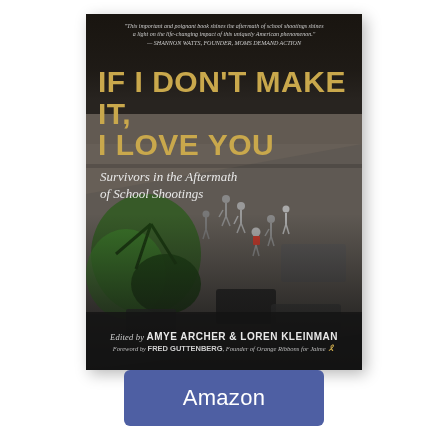[Figure (illustration): Book cover of 'If I Don't Make It, I Love You: Survivors in the Aftermath of School Shootings'. Dark background with aerial photo of people running. Gold title text, white subtitle. Edited by Amye Archer & Loren Kleinman. Foreword by Fred Guttenberg.]
Amazon